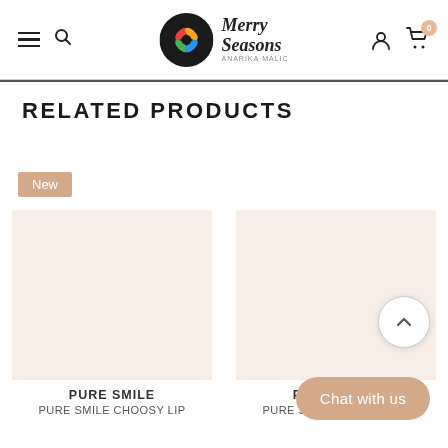Merry Seasons — navigation header with hamburger, search, logo, user icon, cart (0)
RELATED PRODUCTS
New
[Figure (photo): Product card image area for PURE SMILE, left card]
PURE SMILE
PURE SMILE Choosy Lip
[Figure (photo): Product card image area for PURE SMILE, right card]
PURE SMILE
PURE SMILE Choosy Lip
Chat with us